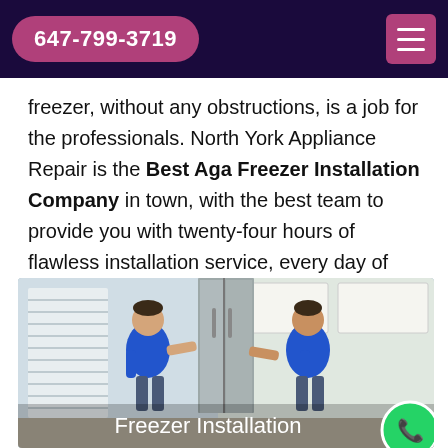647-799-3719
freezer, without any obstructions, is a job for the professionals. North York Appliance Repair is the Best Aga Freezer Installation Company in town, with the best team to provide you with twenty-four hours of flawless installation service, every day of the week.
[Figure (photo): Two technicians in blue shirts installing a large stainless steel side-by-side refrigerator/freezer in a kitchen. One person pushes from each side. Text overlay reads 'Freezer Installation'.]